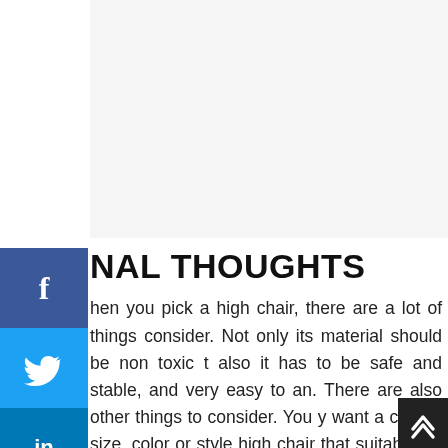NAL THOUGHTS
hen you pick a high chair, there are a lot of things consider. Not only its material should be non toxic t also it has to be safe and stable, and very easy to an. There are also other things to consider. You y want a certain size, color or style high chair that suitable for your home.  Some high chairs may fit ur baby  better than others. You may find one tray noves faster and easier than other high chairs. You y also want a chair that can grow with your by. Personally, I really like Stokke Tripp Trapp and egaroo high chairs. Whichever high chair you choose, keep in mind that not all high chairs are mad of non toxic materials. They can contain and release